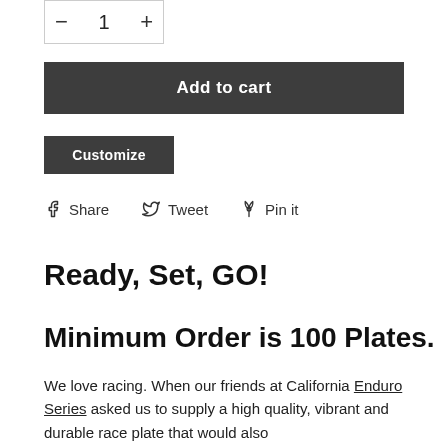[Figure (other): Quantity selector with minus, 1, and plus buttons in a bordered box]
Add to cart
Customize
Share  Tweet  Pin it
Ready, Set, GO!
Minimum Order is 100 Plates.
We love racing. When our friends at California Enduro Series asked us to supply a high quality, vibrant and durable race plate that would also